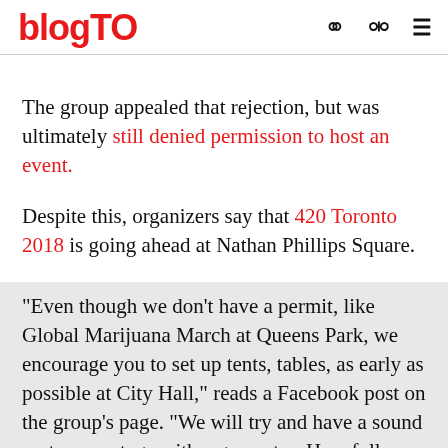blogTO
The group appealed that rejection, but was ultimately still denied permission to host an event.
Despite this, organizers say that 420 Toronto 2018 is going ahead at Nathan Phillips Square.
"Even though we don't have a permit, like Global Marijuana March at Queens Park, we encourage you to set up tents, tables, as early as possible at City Hall," reads a Facebook post on the group's page. "We will try and have a sound system on stage with a generator. Hopefully we have good weather."